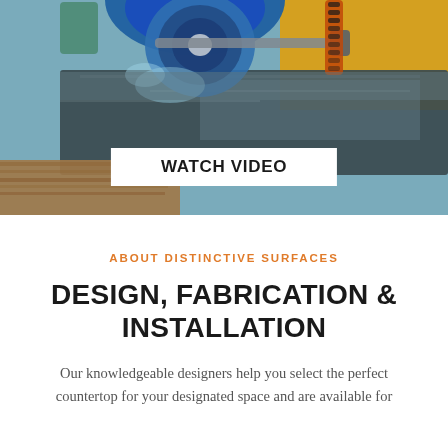[Figure (photo): Industrial stone cutting machine cutting through polished granite countertop slab with water cooling, yellow background visible, wood table underneath.]
WATCH VIDEO
ABOUT DISTINCTIVE SURFACES
DESIGN, FABRICATION & INSTALLATION
Our knowledgeable designers help you select the perfect countertop for your designated space and are available for